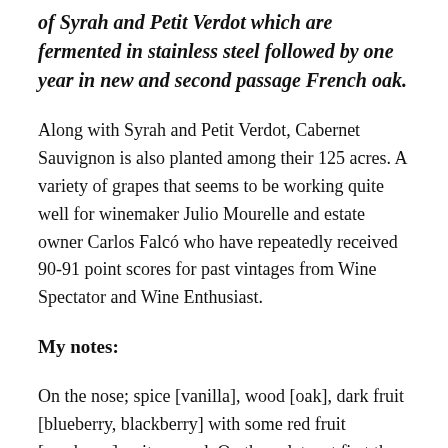of Syrah and Petit Verdot which are fermented in stainless steel followed by one year in new and second passage French oak.
Along with Syrah and Petit Verdot, Cabernet Sauvignon is also planted among their 125 acres. A variety of grapes that seems to be working quite well for winemaker Julio Mourelle and estate owner Carlos Falcó who have repeatedly received 90-91 point scores for past vintages from Wine Spectator and Wine Enthusiast.
My notes:
On the nose; spice [vanilla], wood [oak], dark fruit [blueberry, blackberry] with some red fruit [raspberry] as it opened. On the palate; at first the fruit was a bit closed off and the wine quite tannic as I noted cocoa and the effects of this blend coating my mouth with a purple hue. As the